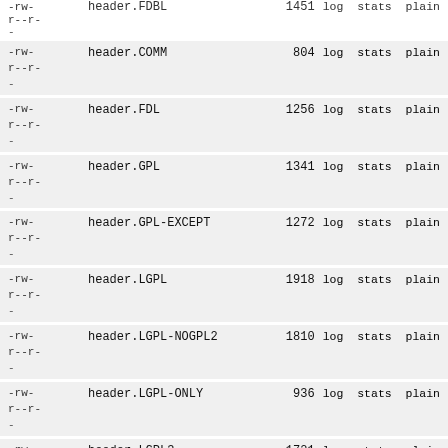-rw-r--r-- header.FDBL 1451 log stats plain -
-rw-r--r-- header.COMM 804 log stats plain -
-rw-r--r-- header.FDL 1256 log stats plain -
-rw-r--r-- header.GPL 1341 log stats plain -
-rw-r--r-- header.GPL-EXCEPT 1272 log stats plain -
-rw-r--r-- header.LGPL 1918 log stats plain -
-rw-r--r-- header.LGPL-NOGPL2 1810 log stats plain -
-rw-r--r-- header.LGPL-ONLY 936 log stats plain -
-rw-r--r-- header.LGPL3 1721 log stats plain -
-rw-r--r-- header.LGPL3-COMM 1277 log stats plain -